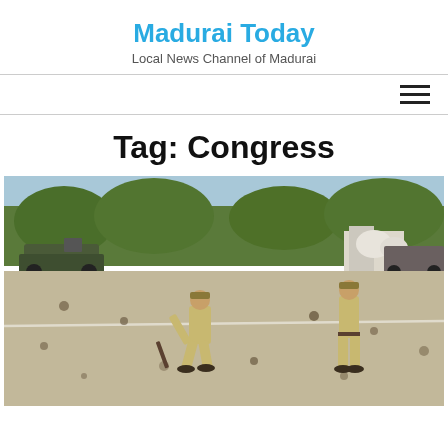Madurai Today
Local News Channel of Madurai
Tag: Congress
[Figure (photo): Two police officers in khaki uniforms standing on a road scattered with debris; military vehicles and buildings visible in the background.]